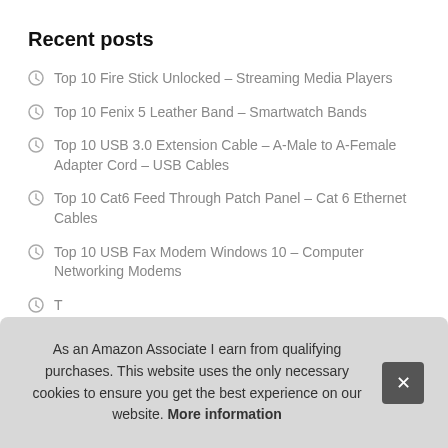Recent posts
Top 10 Fire Stick Unlocked – Streaming Media Players
Top 10 Fenix 5 Leather Band – Smartwatch Bands
Top 10 USB 3.0 Extension Cable – A-Male to A-Female Adapter Cord – USB Cables
Top 10 Cat6 Feed Through Patch Panel – Cat 6 Ethernet Cables
Top 10 USB Fax Modem Windows 10 – Computer Networking Modems
T…
T…
T… Cha…
As an Amazon Associate I earn from qualifying purchases. This website uses the only necessary cookies to ensure you get the best experience on our website. More information